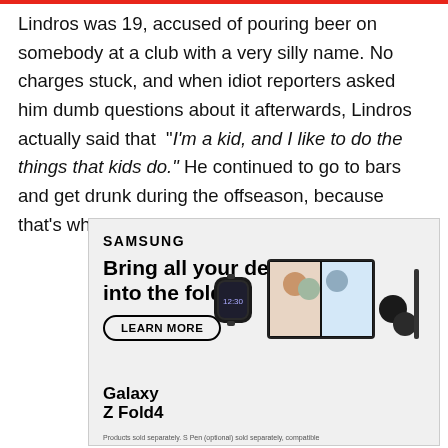Lindros was 19, accused of pouring beer on somebody at a club with a very silly name. No charges stuck, and when idiot reporters asked him dumb questions about it afterwards, Lindros actually said that "I'm a kid, and I like to do the things that kids do." He continued to go to bars and get drunk during the offseason, because that's what kids do.
[Figure (other): Samsung advertisement. Brand name 'SAMSUNG' at top. Tagline: 'Bring all your devices into the fold'. Learn More button. Images of Galaxy Z Fold4 phone, smartwatch, earbuds, and laptop with video call. Footnote: 'Products sold separately. S Pen (optional) sold separately, compatible...']